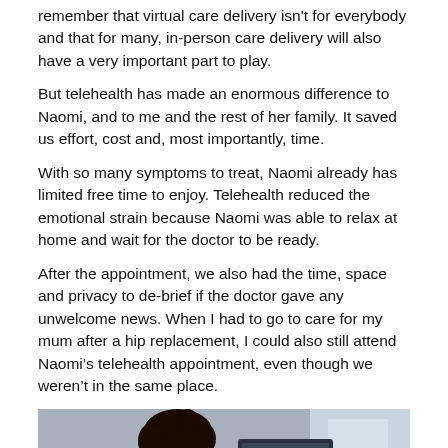remember that virtual care delivery isn't for everybody and that for many, in-person care delivery will also have a very important part to play.
But telehealth has made an enormous difference to Naomi, and to me and the rest of her family. It saved us effort, cost and, most importantly, time.
With so many symptoms to treat, Naomi already has limited free time to enjoy. Telehealth reduced the emotional strain because Naomi was able to relax at home and wait for the doctor to be ready.
After the appointment, we also had the time, space and privacy to de-brief if the doctor gave any unwelcome news. When I had to go to care for my mum after a hip replacement, I could also still attend Naomi's telehealth appointment, even though we weren't in the same place.
[Figure (photo): A woman in blue scrubs looking at a smartphone, seated at a desk with a computer monitor, in an office or clinical setting.]